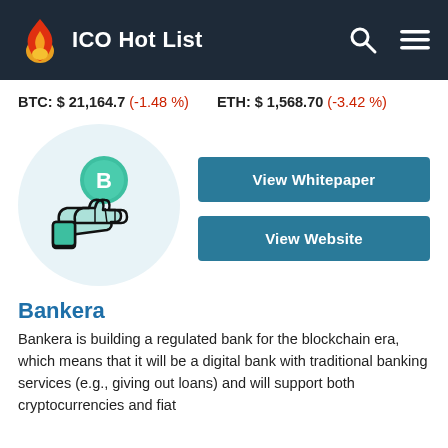ICO Hot List
BTC: $ 21,164.7 (-1.48 %)   ETH: $ 1,568.70 (-3.42 %)
[Figure (illustration): Bankera logo: a hand holding a coin with letter B on a light blue circular background]
View Whitepaper
View Website
Bankera
Bankera is building a regulated bank for the blockchain era, which means that it will be a digital bank with traditional banking services (e.g., giving out loans) and will support both cryptocurrencies and fiat